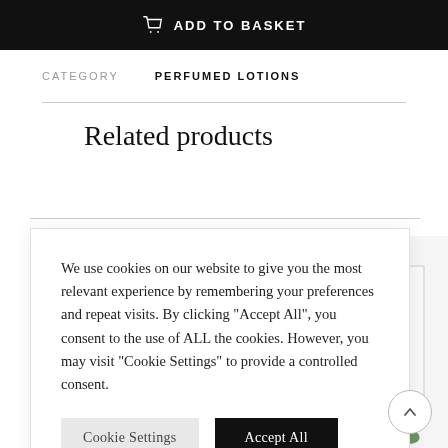[Figure (screenshot): Black bar with basket icon and ADD TO BASKET text in white]
CATEGORY    PERFUMED LOTIONS
Related products
We use cookies on our website to give you the most relevant experience by remembering your preferences and repeat visits. By clicking “Accept All”, you consent to the use of ALL the cookies. However, you may visit "Cookie Settings" to provide a controlled consent.
[Figure (photo): Product bottles (lotion/pump dispensers) with a rose flower, partially visible on right side]